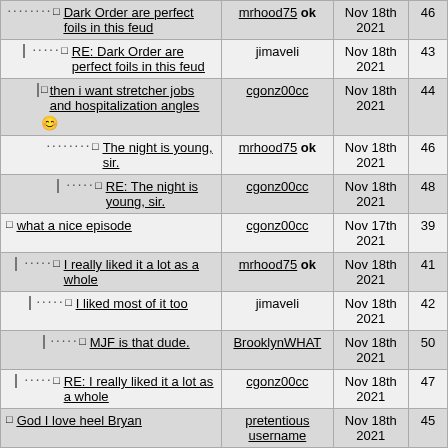| Thread Title | User | Date | # |
| --- | --- | --- | --- |
| Dark Order are perfect foils in this feud | mrhood75 ok | Nov 18th 2021 | 46 |
| RE: Dark Order are perfect foils in this feud | jimaveli | Nov 18th 2021 | 43 |
| then i want stretcher jobs and hospitalization angles 😊 | cgonz00cc | Nov 18th 2021 | 44 |
| The night is young, sir. | mrhood75 ok | Nov 18th 2021 | 46 |
| RE: The night is young, sir. | cgonz00cc | Nov 18th 2021 | 48 |
| what a nice episode | cgonz00cc | Nov 17th 2021 | 39 |
| I really liked it a lot as a whole | mrhood75 ok | Nov 18th 2021 | 41 |
| I liked most of it too | jimaveli | Nov 18th 2021 | 42 |
| MJF is that dude. | BrooklynWHAT | Nov 18th 2021 | 50 |
| RE: I really liked it a lot as a whole | cgonz00cc | Nov 18th 2021 | 47 |
| God I love heel Bryan | pretentious username | Nov 18th 2021 | 45 |
| he said "WrestleMania" and the marks got piiiiiiiiiiiiissed 😊 | cgonz00cc | Nov 18th 2021 | 49 |